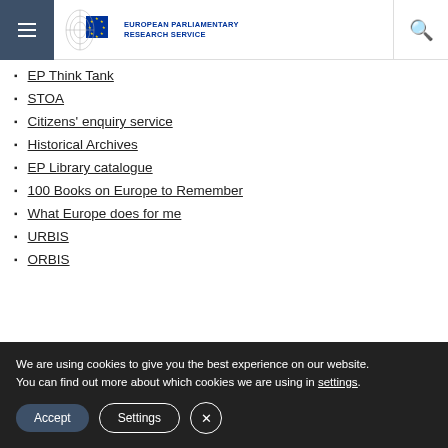European Parliamentary Research Service
EP Think Tank
STOA
Citizens' enquiry service
Historical Archives
EP Library catalogue
100 Books on Europe to Remember
What Europe does for me
URBIS
ORBIS
DISCLAIMER AND COPYRIGHT STATEMENT
We are using cookies to give you the best experience on our website. You can find out more about which cookies we are using in settings.